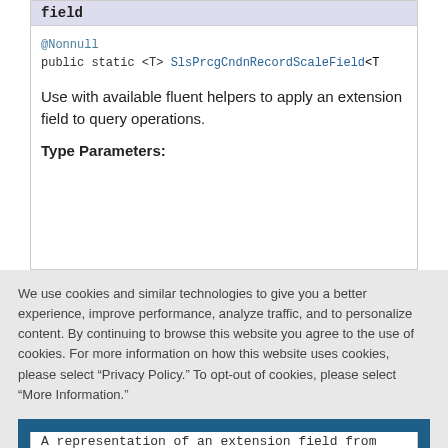field
@Nonnull
public static <T> SlsPrcgCndnRecordScaleField<T>
Use with available fluent helpers to apply an extension field to query operations.
Type Parameters:
We use cookies and similar technologies to give you a better experience, improve performance, analyze traffic, and to personalize content. By continuing to browse this website you agree to the use of cookies. For more information on how this website uses cookies, please select “Privacy Policy.” To opt-out of cookies, please select “More Information.”
Accept Cookies
More Information
Privacy Policy | Powered by: TrustArc
A representation of an extension field from